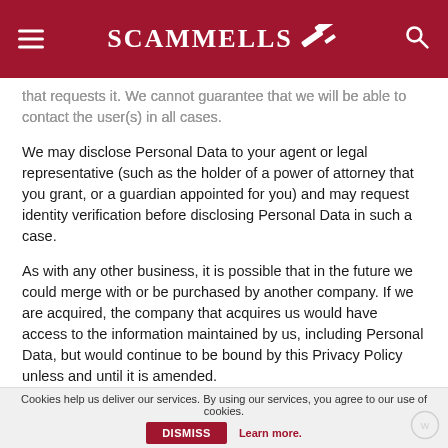SCAMMELLS
that requests it. We cannot guarantee that we will be able to contact the user(s) in all cases.
We may disclose Personal Data to your agent or legal representative (such as the holder of a power of attorney that you grant, or a guardian appointed for you) and may request identity verification before disclosing Personal Data in such a case.
As with any other business, it is possible that in the future we could merge with or be purchased by another company. If we are acquired, the company that acquires us would have access to the information maintained by us, including Personal Data, but would continue to be bound by this Privacy Policy unless and until it is amended.
Aggregate Information
We are not limited in our use of Aggregate Information that does not permit direct association with any specific individual or any specific person or information about a
Cookies help us deliver our services. By using our services, you agree to our use of cookies. DISMISS Learn more.